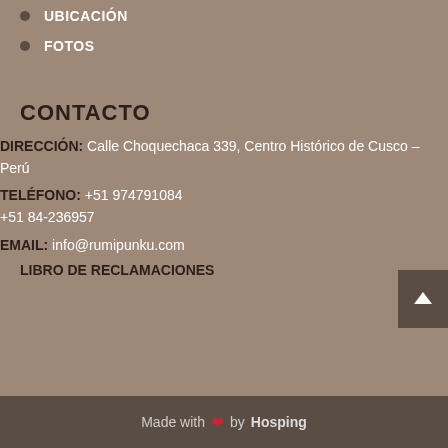UBICACIÓN
FOTOS
CONTACTO
DIRECCIÓN: Calle Choquechaca 339, Centro Histórico de Cusco – Perú
TELÉFONO: +51 974791084
+51 84-236957
EMAIL: info@rumipunku.com
LIBRO DE RECLAMACIONES
Made with ❤ by Hosping